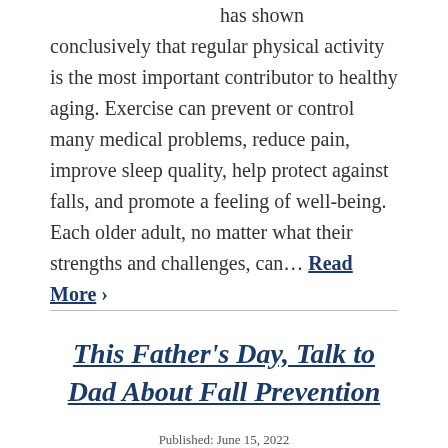has shown conclusively that regular physical activity is the most important contributor to healthy aging. Exercise can prevent or control many medical problems, reduce pain, improve sleep quality, help protect against falls, and promote a feeling of well-being. Each older adult, no matter what their strengths and challenges, can… Read More ›
This Father's Day, Talk to Dad About Fall Prevention
Published: June 15, 2022